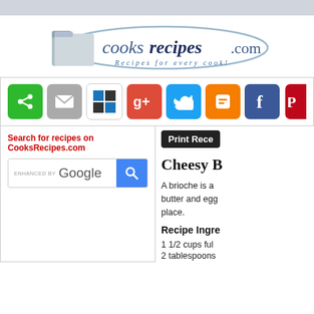[Figure (logo): CooksRecipes.com logo with folder icon and ellipse, tagline 'Recipes for every cook!']
[Figure (infographic): Social sharing buttons bar: share (green), email (gray), AddThis (checkered), Google+ (red), Twitter (blue), Blogger (orange), Facebook (blue), Pinterest (red)]
Search for recipes on CooksRecipes.com
[Figure (screenshot): Google enhanced search box with blue search button]
[Figure (screenshot): Print Recipe button (black/dark)]
Cheesy B
A brioche is a butter and egg place.
Recipe Ingre
1 1/2 cups ful
2 tablespoons